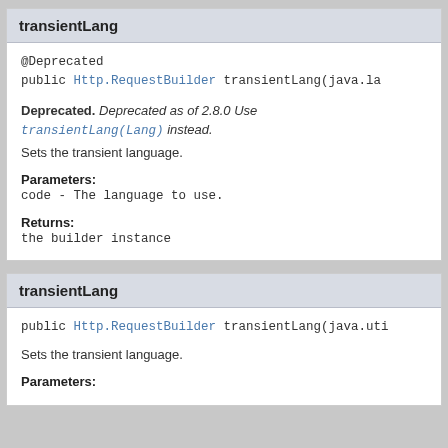transientLang
@Deprecated
public Http.RequestBuilder transientLang(java.la…
Deprecated. Deprecated as of 2.8.0 Use transientLang(Lang) instead.
Sets the transient language.
Parameters:
code - The language to use.
Returns:
the builder instance
transientLang
public Http.RequestBuilder transientLang(java.uti…
Sets the transient language.
Parameters: